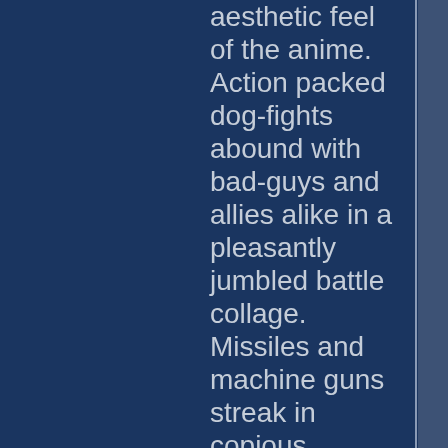aesthetic feel of the anime. Action packed dog-fights abound with bad-guys and allies alike in a pleasantly jumbled battle collage. Missiles and machine guns streak in copious amounts across the sky, littering the larger